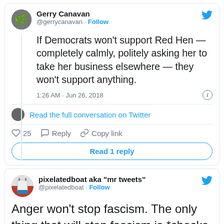[Figure (screenshot): Screenshot of a tweet by Gerry Canavan (@gerrycanavan) saying: 'If Democrats won't support Red Hen — completely calmly, politely asking her to take her business elsewhere — they won't support anything.' Posted at 1:26 AM · Jun 26, 2018. Includes a link 'Read the full conversation on Twitter', like count of 25, Reply and Copy link actions, and a 'Read 1 reply' button.]
[Figure (screenshot): Screenshot of a tweet by pixelatedboat aka 'mr tweets' (@pixelatedboat) saying: 'Anger won't stop fascism. The only thing that will stop fascism is *checks notes*']